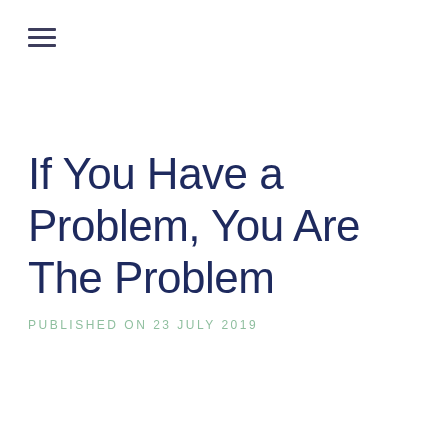[Figure (other): Hamburger menu icon with three horizontal lines]
If You Have a Problem, You Are The Problem
PUBLISHED ON 23 JULY 2019